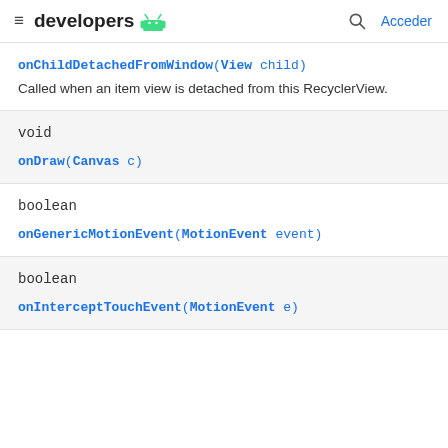developers [android logo] | [search] Acceder
onChildDetachedFromWindow(View child)
Called when an item view is detached from this RecyclerView.
void
onDraw(Canvas c)
boolean
onGenericMotionEvent(MotionEvent event)
boolean
onInterceptTouchEvent(MotionEvent e)